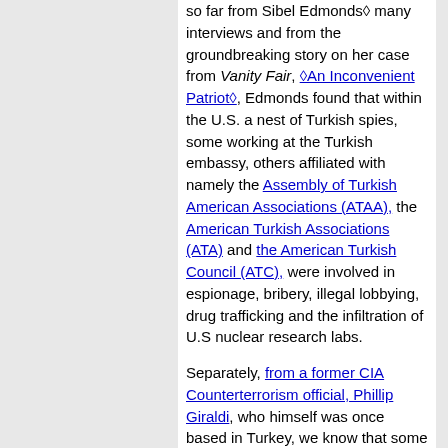so far from Sibel Edmonds' many interviews and from the groundbreaking story on her case from Vanity Fair, "An Inconvenient Patriot", Edmonds found that within the U.S. a nest of Turkish spies, some working at the Turkish embassy, others affiliated with namely the Assembly of Turkish American Associations (ATAA), the American Turkish Associations (ATA) and the American Turkish Council (ATC), were involved in espionage, bribery, illegal lobbying, drug trafficking and the infiltration of U.S nuclear research labs.
Separately, from a former CIA Counterterrorism official, Phillip Giraldi, who himself was once based in Turkey, we know that some arms sales meant for Turkey and Israel were actually meant for resale to countries like China and India- and perhaps even to international terrorists -- using fake end-user certificates. So we have Turkish nationals at the embassy and NGOs stealing U.S. secrets for sale to the highest bidder, reselling arms meant for Turkey, bringing in drugs from Europe, and pouring